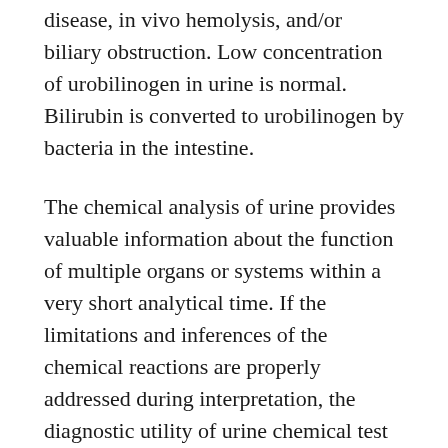disease, in vivo hemolysis, and/or biliary obstruction. Low concentration of urobilinogen in urine is normal. Bilirubin is converted to urobilinogen by bacteria in the intestine.
The chemical analysis of urine provides valuable information about the function of multiple organs or systems within a very short analytical time. If the limitations and inferences of the chemical reactions are properly addressed during interpretation, the diagnostic utility of urine chemical test is high. In situations where access to laboratory testing is low, the dipstick can provide clues to aid diagnosis.